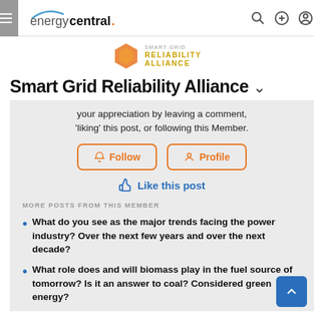energycentral.
[Figure (logo): Smart Grid Reliability Alliance hexagon logo with text SMART GRID RELIABILITY ALLIANCE]
Smart Grid Reliability Alliance
your appreciation by leaving a comment, 'liking' this post, or following this Member.
Follow | Profile
Like this post
MORE POSTS FROM THIS MEMBER
What do you see as the major trends facing the power industry? Over the next few years and over the next decade?
What role does and will biomass play in the fuel source of tomorrow? Is it an answer to coal? Considered green energy?